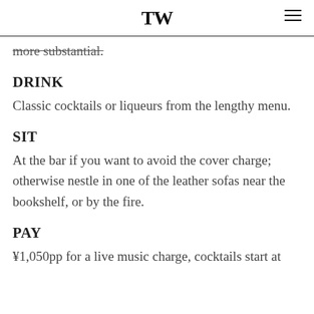TW
more substantial.
DRINK
Classic cocktails or liqueurs from the lengthy menu.
SIT
At the bar if you want to avoid the cover charge; otherwise nestle in one of the leather sofas near the bookshelf, or by the fire.
PAY
¥1,050pp for a live music charge, cocktails start at